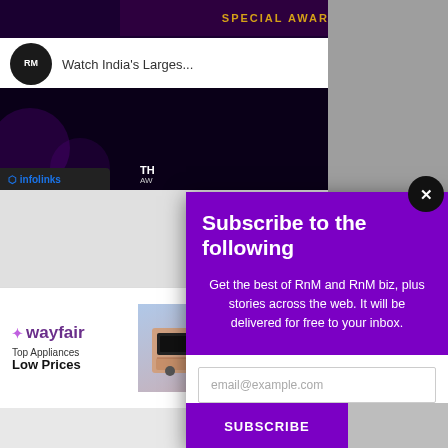[Figure (screenshot): Background showing YouTube-like video player interface with 'SPECIAL AWARDS' banner and RnM logo with 'Watch India's Larges...' title]
[Figure (infographic): Subscription modal overlay with purple header, 'Subscribe to the following' title, descriptive text about RnM and RnM biz, email input field, and SUBSCRIBE button. Close (X) button in top right corner.]
Subscribe to the following
Get the best of RnM and RnM biz, plus stories across the web. It will be delivered for free to your inbox.
[Figure (screenshot): Wayfair advertisement banner at bottom showing logo, 'Top Appliances Low Prices' text, appliance image, 'Save on best selling brands that live up to the hype' text, and 'Shop now' purple button]